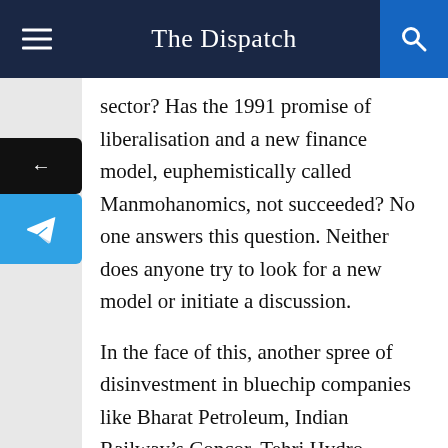The Dispatch
sector? Has the 1991 promise of liberalisation and a new finance model, euphemistically called Manmohanomics, not succeeded? No one answers this question. Neither does anyone try to look for a new model or initiate a discussion.
In the face of this, another spree of disinvestment in bluechip companies like Bharat Petroleum, Indian Railway’s Concor, Tehri Hydro (THDC), North East Power Corporation and a move to transfer management control of a few others is not